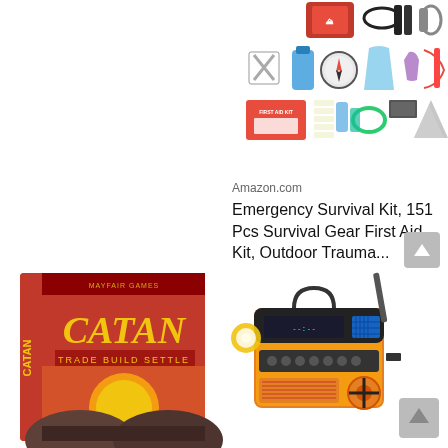[Figure (photo): Emergency survival kit product image showing 151 pieces including tools, first aid supplies, compass, rain poncho, emergency blanket, and more on white background]
Amazon.com
Emergency Survival Kit, 151 Pcs Survival Gear First Aid Kit, Outdoor Trauma...
$47.99
[Figure (photo): Catan board game box with red and gold design, text reads CATAN TRADE BUILD SETTLE]
[Figure (photo): Yellow and black emergency hand-crank solar radio with antenna]